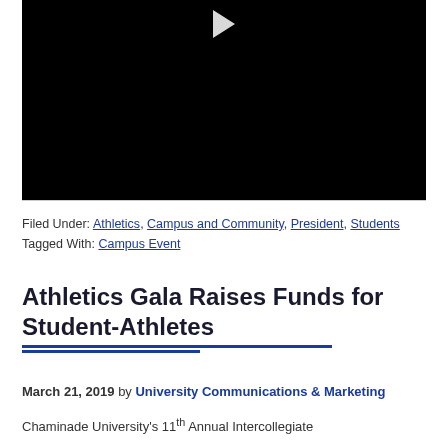[Figure (screenshot): Black video player thumbnail with white play button triangle at top center]
Filed Under: Athletics, Campus and Community, President, Students
Tagged With: Campus Event
Athletics Gala Raises Funds for Student-Athletes
March 21, 2019 by University Communications & Marketing
Chaminade University's 11th Annual Intercollegiate